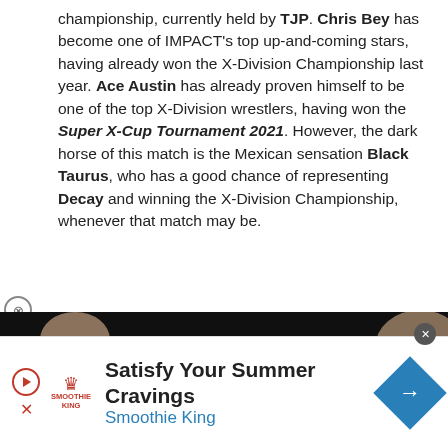championship, currently held by TJP. Chris Bey has become one of IMPACT's top up-and-coming stars, having already won the X-Division Championship last year. Ace Austin has already proven himself to be one of the top X-Division wrestlers, having won the Super X-Cup Tournament 2021. However, the dark horse of this match is the Mexican sensation Black Taurus, who has a good chance of representing Decay and winning the X-Division Championship, whenever that match may be.
[Figure (photo): Photo of two wrestlers/people against a dark background, partially visible]
[Figure (infographic): Smoothie King advertisement banner: 'Satisfy Your Summer Cravings' with Smoothie King logo, play button, and blue arrow button]